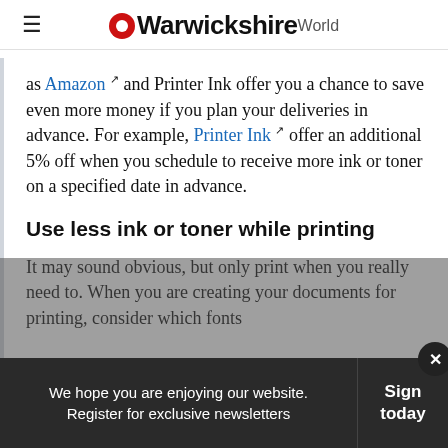Warwickshire World
as Amazon and Printer Ink offer you a chance to save even more money if you plan your deliveries in advance. For example, Printer Ink offer an additional 5% off when you schedule to receive more ink or toner on a specified date in advance.
Use less ink or toner while printing
It may sound obvious, but only print when you really need to. When you are creating your documents for printing, consider which fonts
We hope you are enjoying our website. Register for exclusive newsletters
Sign today